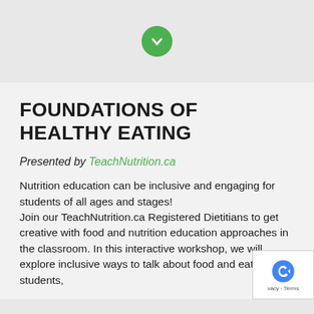[Figure (other): Green circle button with a white checkmark/chevron down icon, on a light grey background]
FOUNDATIONS OF HEALTHY EATING
Presented by TeachNutrition.ca
Nutrition education can be inclusive and engaging for students of all ages and stages!
Join our TeachNutrition.ca Registered Dietitians to get creative with food and nutrition education approaches in the classroom. In this interactive workshop, we will explore inclusive ways to talk about food and eating with students,